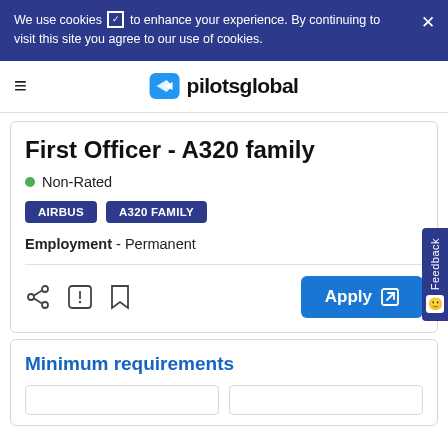We use cookies ☑ to enhance your experience. By continuing to visit this site you agree to our use of cookies.
[Figure (logo): pilotsglobal logo with blue airplane icon and text 'pilotsglobal']
First Officer - A320 family
● Non-Rated
AIRBUS  A320 FAMILY
Employment - Permanent
Apply
Minimum requirements